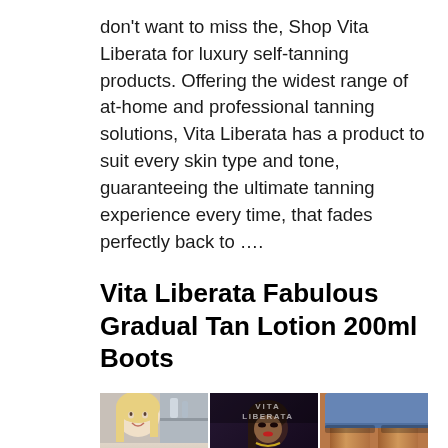don't want to miss the, Shop Vita Liberata for luxury self-tanning products. Offering the widest range of at-home and professional tanning solutions, Vita Liberata has a product to suit every skin type and tone, guaranteeing the ultimate tanning experience every time, that fades perfectly back to ....
Vita Liberata Fabulous Gradual Tan Lotion 200ml Boots
[Figure (photo): Three images side by side: left shows a blonde woman smiling, center shows a dark promotional image with 'VITA LIBERATA' branding and a banner at the bottom, right shows a close-up of tanned legs.]